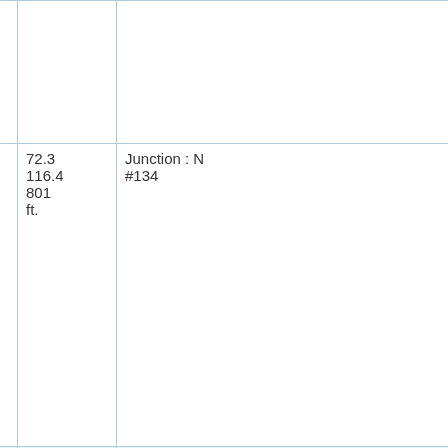|  | Miles/Km/Elev | Description |
| --- | --- | --- |
|  | 72.3
116.4
801 ft. | Junction : N #134 |
|  | 74.4
119.7
745 ft. | New Hope Church Rd North Carolina Zoo |